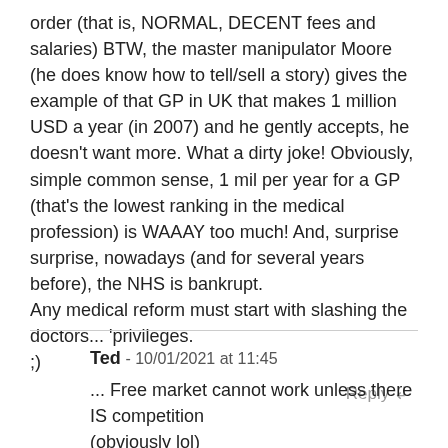order (that is, NORMAL, DECENT fees and salaries) BTW, the master manipulator Moore (he does know how to tell/sell a story) gives the example of that GP in UK that makes 1 million USD a year (in 2007) and he gently accepts, he doesn't want more. What a dirty joke! Obviously, simple common sense, 1 mil per year for a GP (that's the lowest ranking in the medical profession) is WAAAY too much! And, surprise surprise, nowadays (and for several years before), the NHS is bankrupt.
Any medical reform must start with slashing the doctors... 'privileges.
;)
Reply ↲
Ted - 10/01/2021 at 11:45
... Free market cannot work unless there IS competition
(obviously lol)